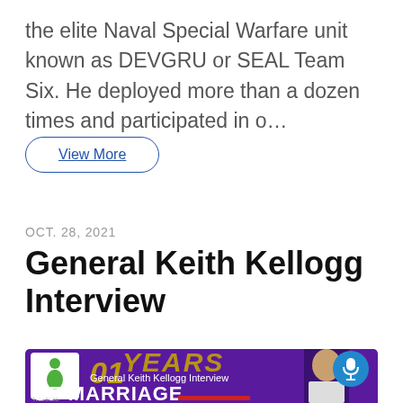the elite Naval Special Warfare unit known as DEVGRU or SEAL Team Six. He deployed more than a dozen times and participated in o…
View More
OCT. 28, 2021
General Keith Kellogg Interview
[Figure (screenshot): Thumbnail image for podcast episode. Purple background showing '01 YEARS' in gold italic text, 'General Keith Kellogg Interview' in white, 'OF MARRIAGE' in large white bold text at bottom, a logo icon on the left, a microphone icon circle on the right, and a partial photo of a man on the right side.]